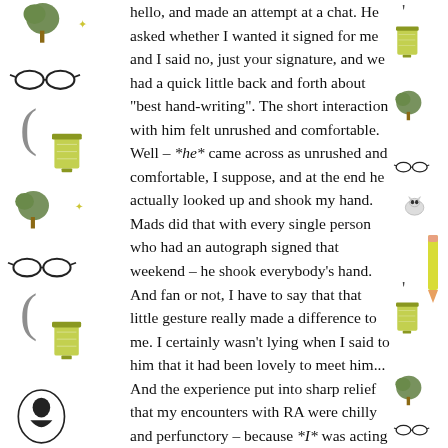[Figure (illustration): Decorative border with illustrated icons: trees, glasses, brackets, jugs/containers, cameo silhouettes, arranged vertically on left and right margins]
hello, and made an attempt at a chat. He asked whether I wanted it signed for me and I said no, just your signature, and we had a quick little back and forth about "best hand-writing". The short interaction with him felt unrushed and comfortable. Well – *he* came across as unrushed and comfortable, I suppose, and at the end he actually looked up and shook my hand. Mads did that with every single person who had an autograph signed that weekend – he shook everybody's hand. And fan or not, I have to say that that little gesture really made a difference to me. I certainly wasn't lying when I said to him that it had been lovely to meet him... And the experience put into sharp relief that my encounters with RA were chilly and perfunctory – because *I* was acting like a teenager and couldn't get my act together... Richard was grand as he was – he made every attempt at providing a good experience to everyone. But if some people can't overcome their own reserve, then that is hardly *his* responsibility.